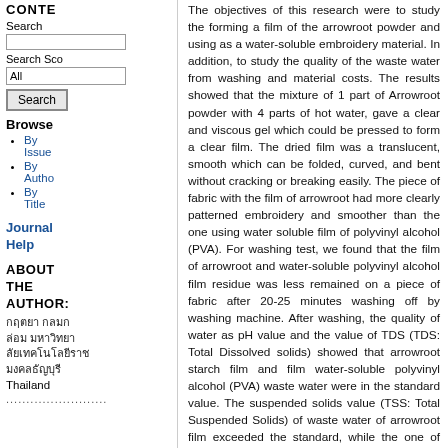Search
Search Scope: All
Browse
By Issue
By Author
By Title
Journal Help
ABOUT THE AUTHOR:
กฤตยา กลมกล่อม มหาวิทยาลัยเทคโนโลยีราชมงคลธัญบุรี มหาวิทยาลัยเทคโนโลยีราชมงคลธัญบุรี Thailand
The objectives of this research were to study the forming a film of the arrowroot powder and using as a water-soluble embroidery material. In addition, to study the quality of the waste water from washing and material costs. The results showed that the mixture of 1 part of Arrowroot powder with 4 parts of hot water, gave a clear and viscous gel which could be pressed to form a clear film. The dried film was a translucent, smooth which can be folded, curved, and bent without cracking or breaking easily. The piece of fabric with the film of arrowroot had more clearly patterned embroidery and smoother than the one using water soluble film of polyvinyl alcohol (PVA). For washing test, we found that the film of arrowroot and water-soluble polyvinyl alcohol film residue was less remained on a piece of fabric after 20-25 minutes washing off by washing machine. After washing, the quality of water as pH value and the value of TDS (TDS: Total Dissolved solids) showed that arrowroot starch film and film water-soluble polyvinyl alcohol (PVA) waste water were in the standard value. The suspended solids value (TSS: Total Suspended Solids) of waste water of arrowroot film exceeded the standard, while the one of water-soluble polyvinyl alcohol (PVA) was in the standard. BOD (Biochemical Oxygen Demand) and COD (Chemical Oxygen Demand) of waste water of both film exceeded the standard. They needed to be treated before being released into the public water supply. Finally raw material costs of producing film of arrowroot was 14.58 baht per square meter.
Keywords
embroidery supporting